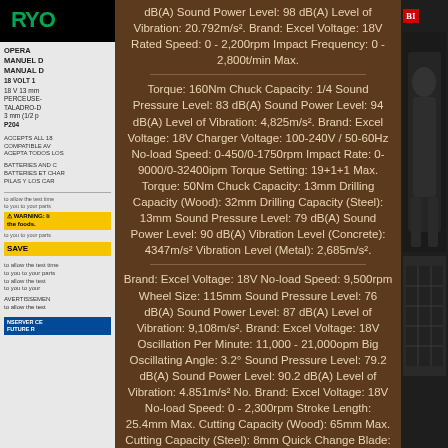[Figure (photo): Left strip showing partial Ryobi power tool manual/packaging with logo, text, and warning labels on light grey background]
dB(A) Sound Power Level: 98 dB(A) Level of Vibration: 20.792m/s². Brand: Excel Voltage: 18V Rated Speed: 0 - 2,200rpm Impact Frequency: 0 - 2,800t/min Max.
Torque: 160Nm Chuck Capacity: 1/4 Sound Pressure Level: 83 dB(A) Sound Power Level: 94 dB(A) Level of Vibration: 4,825m/s². Brand: Excel Voltage: 18V Charger Voltage: 100-240V / 50-60Hz No-load Speed: 0-450/0-1750rpm Impact Rate: 0-9000/0-32400ipm Torque Setting: 19+1+1 Max. Torque: 50Nm Chuck Capacity: 13mm Drilling Capacity (Wood): 32mm Drilling Capacity (Steel): 13mm Sound Pressure Level: 79 dB(A) Sound Power Level: 90 dB(A) Vibration Level (Concrete): 4347m/s² Vibration Level (Metal): 2,685m/s².
Brand: Excel Voltage: 18V No-load Speed: 9,500rpm Wheel Size: 115mm Sound Pressure Level: 76 dB(A) Sound Power Level: 87 dB(A) Level of Vibration: 9,108m/s². Brand: Excel Voltage: 18V Oscillation Per Minute: 11,000 - 21,000opm Big Oscillating Angle: 3.2° Sound Pressure Level: 79.2 dB(A) Sound Power Level: 90.2 dB(A) Level of Vibration: 4.851m/s² No. Brand: Excel Voltage: 18V No-load Speed: 0 - 2,300rpm Stroke Length: 25.4mm Max. Cutting Capacity (Wood): 65mm Max. Cutting Capacity (Steel): 8mm Quick Change Blade: Yes LED Worklight: Yes Pendular Positions: 4 Acoustic Pressure Level: 76 dB(A) Acoustic Power Level: 87 dB(A)
[Figure (photo): Right dark strip showing partial image of a person and dark background, with red label partially visible]